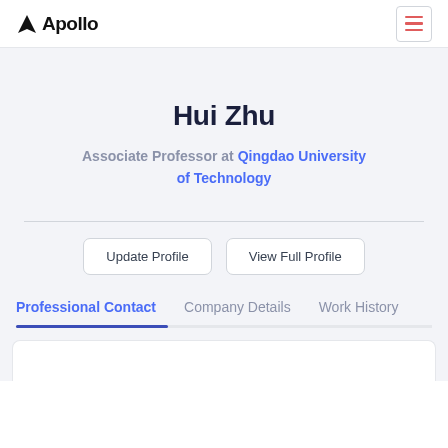Apollo
Hui Zhu
Associate Professor at Qingdao University of Technology
Update Profile | View Full Profile
Professional Contact   Company Details   Work History